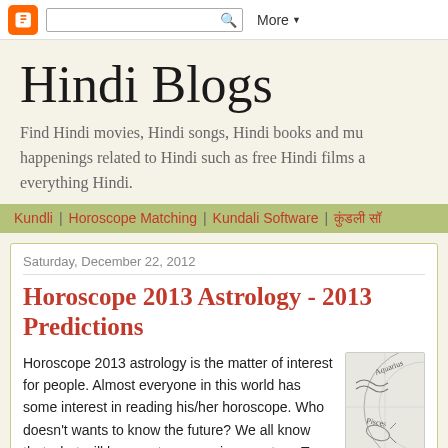Blogger toolbar with search and More button
Hindi Blogs
Find Hindi movies, Hindi songs, Hindi books and mu... happenings related to Hindi such as free Hindi films a... everything Hindi.
Kundli | Horoscope Matching | Kundali Software | कुंडली सॉ
Saturday, December 22, 2012
Horoscope 2013 Astrology - 2013 Predictions
Horoscope 2013 astrology is the matter of interest for people. Almost everyone in this world has some interest in reading his/her horoscope. Who doesn't wants to know the future? We all know that what will happen tomorrow is a mystery. To unfold this mystery we have brought for you the horoscope 2013 predictions, so that you may know about the possible
[Figure (illustration): Partial astrology/horoscope zodiac wheel illustration showing Aquarius and Pisces signs]